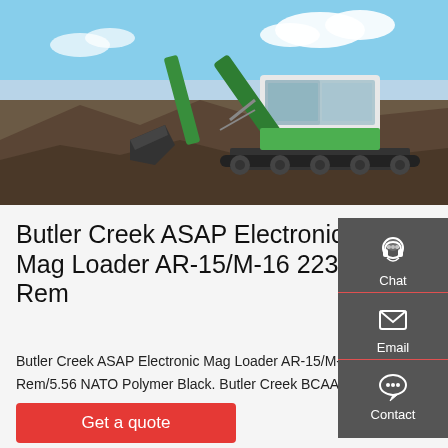[Figure (photo): Large excavator/crawler machine operating on rocky terrain with blue sky background]
Butler Creek ASAP Electronic Mag Loader AR-15/M-16 223 Rem
Butler Creek ASAP Electronic Mag Loader AR-15/M-16 223 Rem/5.56 NATO Polymer Black. Butler Creek BCAAR15EMB. The Butler Creek ASAP Universal AR15/M16 Electronic Magazine Loader fills up mags almost as fast as they can be emptied. Loose ammo can be loaded one round at a time with at simple click,
[Figure (infographic): Sidebar with Chat (headset icon), Email (envelope icon), and Contact (chat bubble icon) buttons on dark grey background]